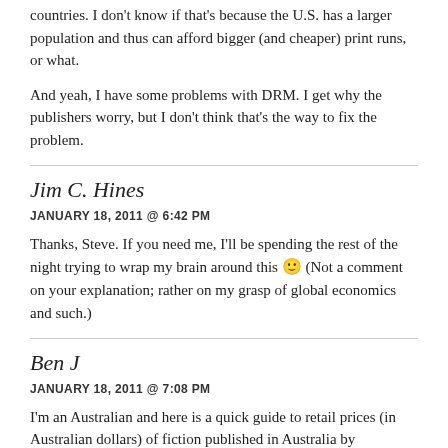countries. I don't know if that's because the U.S. has a larger population and thus can afford bigger (and cheaper) print runs, or what.
And yeah, I have some problems with DRM. I get why the publishers worry, but I don't think that's the way to fix the problem.
Jim C. Hines
JANUARY 18, 2011 @ 6:42 PM
Thanks, Steve. If you need me, I'll be spending the rest of the night trying to wrap my brain around this 🙂 (Not a comment on your explanation; rather on my grasp of global economics and such.)
Ben J
JANUARY 18, 2011 @ 7:08 PM
I'm an Australian and here is a quick guide to retail prices (in Australian dollars) of fiction published in Australia by Australian Publishers. These prices are from examing books for sale in the two main bookstore chains.
Mass market paperbacks range from $18.99 to $21.99, trade paperbacks range from $28.99 – $32.99 and Hardcovers generally start from $45.00.
There are 3 department store chains that sell books, and while their